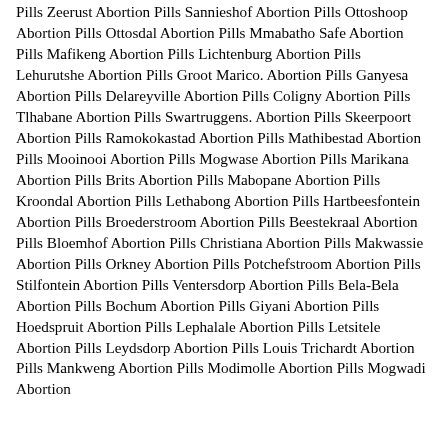Pills Zeerust Abortion Pills Sannieshof Abortion Pills Ottoshoop Abortion Pills Ottosdal Abortion Pills Mmabatho Safe Abortion Pills Mafikeng Abortion Pills Lichtenburg Abortion Pills Lehurutshe Abortion Pills Groot Marico. Abortion Pills Ganyesa Abortion Pills Delareyville Abortion Pills Coligny Abortion Pills Tlhabane Abortion Pills Swartruggens. Abortion Pills Skeerpoort Abortion Pills Ramokokastad Abortion Pills Mathibestad Abortion Pills Mooinooi Abortion Pills Mogwase Abortion Pills Marikana Abortion Pills Brits Abortion Pills Mabopane Abortion Pills Kroondal Abortion Pills Lethabong Abortion Pills Hartbeesfontein Abortion Pills Broederstroom Abortion Pills Beestekraal Abortion Pills Bloemhof Abortion Pills Christiana Abortion Pills Makwassie Abortion Pills Orkney Abortion Pills Potchefstroom Abortion Pills Stilfontein Abortion Pills Ventersdorp Abortion Pills Bela-Bela Abortion Pills Bochum Abortion Pills Giyani Abortion Pills Hoedspruit Abortion Pills Lephalale Abortion Pills Letsitele Abortion Pills Leydsdorp Abortion Pills Louis Trichardt Abortion Pills Mankweng Abortion Pills Modimolle Abortion Pills Mogwadi Abortion Pills Mokopane Abortion Pills Mooketsi Abortion Pills Morebeng